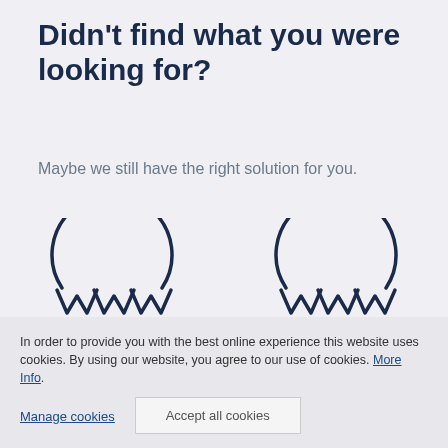Didn't find what you were looking for?
Maybe we still have the right solution for you.
[Figure (illustration): Two circular globe/www icons side by side, each showing a circle outline on top and stylized WWW lettering below, rendered in dark navy blue stroke style]
In order to provide you with the best online experience this website uses cookies. By using our website, you agree to our use of cookies. More Info.
Manage cookies
Accept all cookies